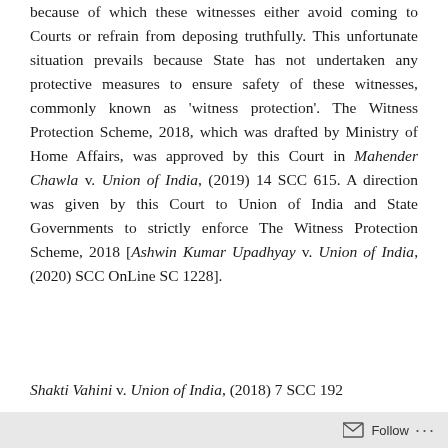because of which these witnesses either avoid coming to Courts or refrain from deposing truthfully. This unfortunate situation prevails because State has not undertaken any protective measures to ensure safety of these witnesses, commonly known as 'witness protection'. The Witness Protection Scheme, 2018, which was drafted by Ministry of Home Affairs, was approved by this Court in Mahender Chawla v. Union of India, (2019) 14 SCC 615. A direction was given by this Court to Union of India and State Governments to strictly enforce The Witness Protection Scheme, 2018 [Ashwin Kumar Upadhyay v. Union of India, (2020) SCC OnLine SC 1228].
Shakti Vahini v. Union of India, (2018) 7 SCC 192
Follow